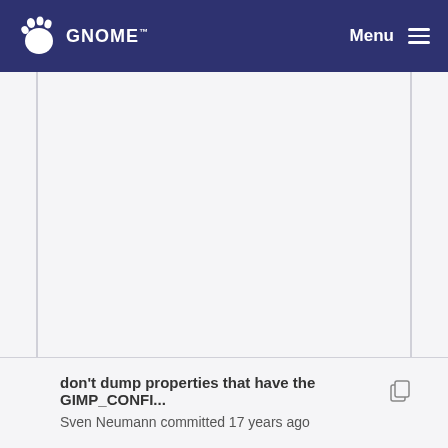GNOME  Menu
don't dump properties that have the GIMP_CONFI...
Sven Neumann committed 17 years ago